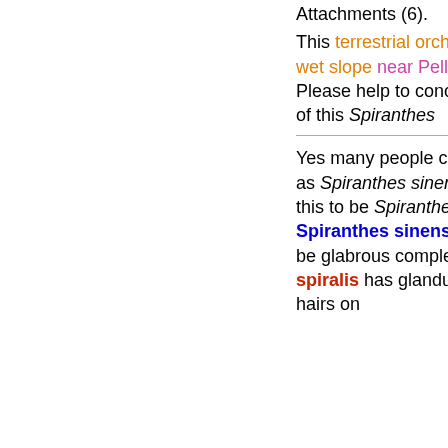Attachments (6).
This terrestrial orchid was found on a wet slope near Pelling in Sikkim.. Please help to conclude the specific id of this Spiranthes
Yes many people consider this plant as Spiranthes sinensis but I believe this to be Spiranthes spiralis. Spiranthes sinensis is supposed to be glabrous completely and S. spiralis has glandular or not glandular hairs on the fl...